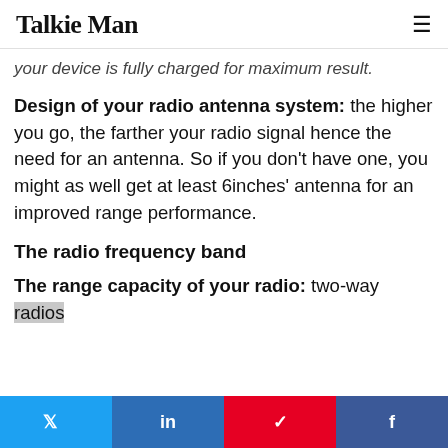Talkie Man
your device is fully charged for maximum result.
Design of your radio antenna system: the higher you go, the farther your radio signal hence the need for an antenna. So if you don't have one, you might as well get at least 6inches' antenna for an improved range performance.
The radio frequency band
The range capacity of your radio: two-way radios
[Figure (other): Social share bar with Twitter, LinkedIn, Pinterest, and Facebook buttons]